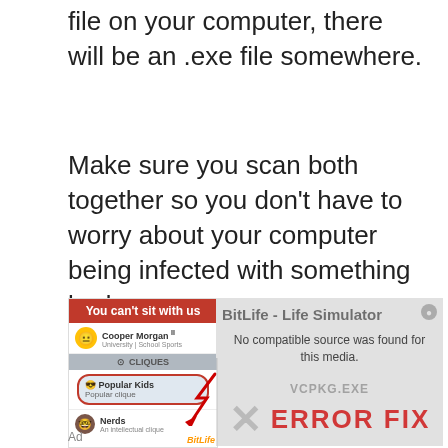file on your computer, there will be an .exe file somewhere.
Make sure you scan both together so you don't have to worry about your computer being infected with something bad.
[Figure (screenshot): Advertisement screenshot showing a BitLife game ad with 'You can't sit with us' red banner, user profile Cooper Morgan, CLIQUES section with Popular Kids circled in red, Nerds group, BitLife logo, alongside a video player overlay saying 'No compatible source was found for this media.' and an ERROR FIX background image with X mark and VCPKG.EXE text. Ad label at bottom left.]